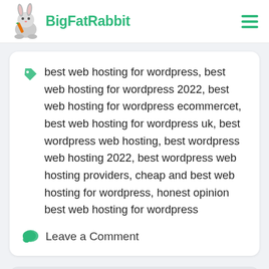BigFatRabbit
best web hosting for wordpress, best web hosting for wordpress 2022, best web hosting for wordpress ecommercet, best web hosting for wordpress uk, best wordpress web hosting, best wordpress web hosting 2022, best wordpress web hosting providers, cheap and best web hosting for wordpress, honest opinion best web hosting for wordpress
Leave a Comment